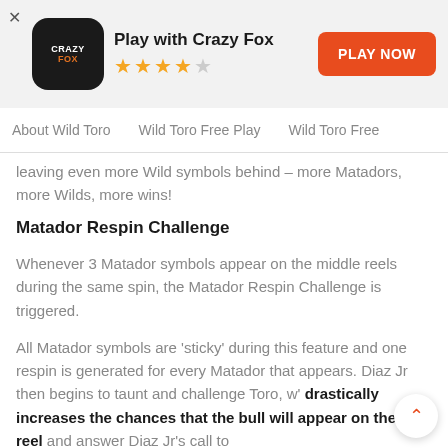[Figure (logo): Crazy Fox app icon — black circle with CRAZY FOX text, 4 gold stars rating, Play with Crazy Fox title, orange PLAY NOW button]
About Wild Toro | Wild Toro Free Play | Wild Toro Free
leaving even more Wild symbols behind – more Matadors, more Wilds, more wins!
Matador Respin Challenge
Whenever 3 Matador symbols appear on the middle reels during the same spin, the Matador Respin Challenge is triggered.
All Matador symbols are 'sticky' during this feature and one respin is generated for every Matador that appears. Diaz Jr then begins to taunt and challenge Toro, w' drastically increases the chances that the bull will appear on the last reel and answer Diaz Jr's call to